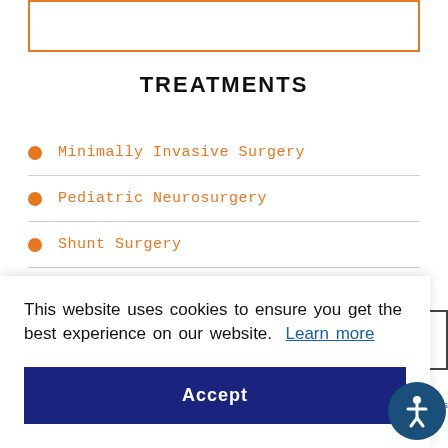[Figure (other): Orange bordered rectangle at top of page]
TREATMENTS
Minimally Invasive Surgery
Pediatric Neurosurgery
Shunt Surgery
This website uses cookies to ensure you get the best experience on our website. Learn more
Accept
[Figure (other): Scroll to top button with upward arrow]
[Figure (other): reCAPTCHA badge with Privacy - Terms text]
[Figure (other): Accessibility icon button (person in circle)]